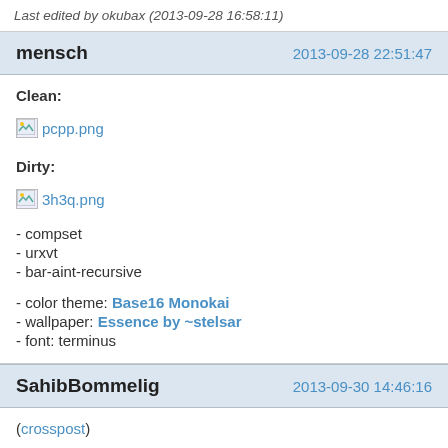Last edited by okubax (2013-09-28 16:58:11)
mensch  2013-09-28 22:51:47
Clean:
[pcpp.png]

Dirty:
[3h3q.png]

- compset
- urxvt
- bar-aint-recursive

- color theme: Base16 Monokai
- wallpaper: Essence by ~stelsar
- font: terminus
SahibBommelig  2013-09-30 14:46:16
(crosspost)

Acting like Idle: